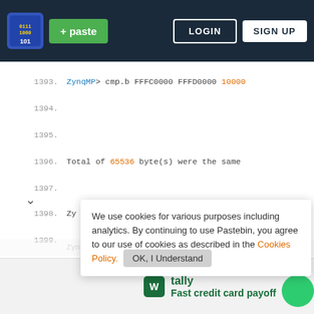[Figure (screenshot): Pastebin website header with logo, paste button, login and sign up buttons on dark navy background]
1393.  ZynqMP> cmp.b FFFC0000 FFFD0000 10000
1394.
1395.
1396.  Total of 65536 byte(s) were the same
1397.
1398.  Zy  We use cookies for various purposes including analytics. By continuing to use Pastebin, you agree to our use of cookies as described in the Cookies Policy.   OK, I Understand
1401.  device 0 offset 0x510000, size 0x10000
1402.
1403.  SF   Not a member of Pastebin yet? Sign Up, it unlocks many cool features!
[Figure (illustration): Tally app advertisement - Fast credit card payoff]